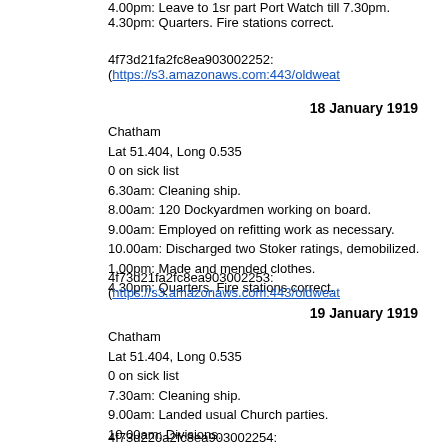4.00pm: Leave to 1sr part Port Watch till 7.30pm.
4.30pm: Quarters. Fire stations correct.
4f73d21fa2fc8ea903002252: (https://s3.amazonaws.com:443/oldweat...
18 January 1919
Chatham
Lat 51.404, Long 0.535
0 on sick list
6.30am: Cleaning ship.
8.00am: 120 Dockyardmen working on board.
9.00am: Employed on refitting work as necessary.
10.00am: Discharged two Stoker ratings, demobilized.
1.00pm: Made and mended clothes.
4.30pm: Quarters. Fire stations correct.
4f73d21fa2fc8ea903002253: (https://s3.amazonaws.com:443/oldweat...
19 January 1919
Chatham
Lat 51.404, Long 0.535
0 on sick list
7.30am: Cleaning ship.
9.00am: Landed usual Church parties.
10.00am: Divisions.
1.00pm: Leave to 1st part Port Watch till 7.30am.
4.30pm: Quarters. Fire stations correct.
4f73d220a2fc8ea903002254: (https://s3.amazonaws.com:443/oldwea...